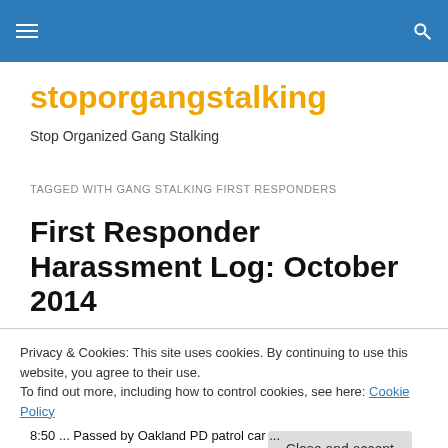stoporgangstalking
stoporgangstalking
Stop Organized Gang Stalking
TAGGED WITH GANG STALKING FIRST RESPONDERS
First Responder Harassment Log: October 2014
Privacy & Cookies: This site uses cookies. By continuing to use this website, you agree to their use.
To find out more, including how to control cookies, see here: Cookie Policy
Close and accept
8:50 ... Passed by Oakland PD patrol car ...